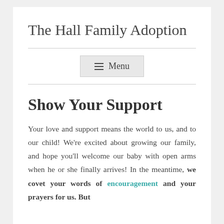The Hall Family Adoption
Show Your Support
Your love and support means the world to us, and to our child! We're excited about growing our family, and hope you'll welcome our baby with open arms when he or she finally arrives! In the meantime, we covet your words of encouragement and your prayers for us. But